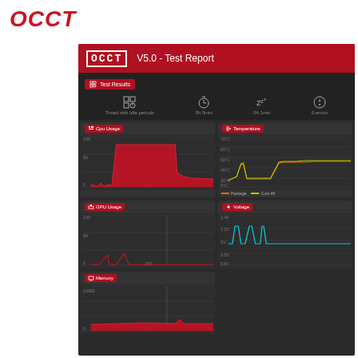OCCT
[Figure (screenshot): OCCT V5.0 Test Report dashboard screenshot showing: header bar with OCCT logo and 'V5.0 - Test Report' title. Test Results section showing 'Timed with Idle periods', '0h 5min', '0h 1min', '0 errors'. Six monitoring charts: CPU Usage (area chart, red, spikes to 100), GPU Usage (line chart, low usage with small spikes), Memory (flat red line around 10000), Temperature (multi-line with Package orange and Core #0 yellow, rising to ~50°C), Voltage (cyan line chart ~1.0-1.3V). Dashboard on dark background.]